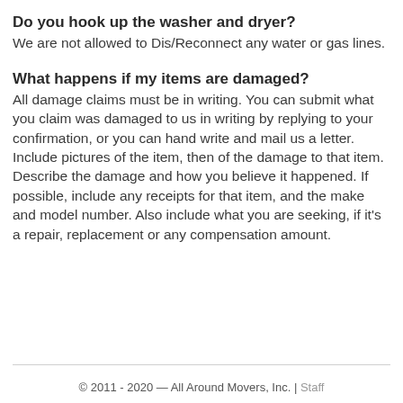Do you hook up the washer and dryer?
We are not allowed to Dis/Reconnect any water or gas lines.
What happens if my items are damaged?
All damage claims must be in writing. You can submit what you claim was damaged to us in writing by replying to your confirmation, or you can hand write and mail us a letter. Include pictures of the item, then of the damage to that item. Describe the damage and how you believe it happened. If possible, include any receipts for that item, and the make and model number. Also include what you are seeking, if it’s a repair, replacement or any compensation amount.
© 2011 - 2020 — All Around Movers, Inc. | Staff